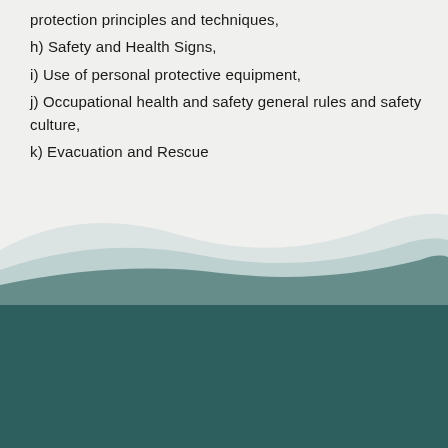protection principles and techniques,
h) Safety and Health Signs,
i) Use of personal protective equipment,
j) Occupational health and safety general rules and safety culture,
k) Evacuation and Rescue
OUR SOLUTIONS
Green Deal
Green Energy